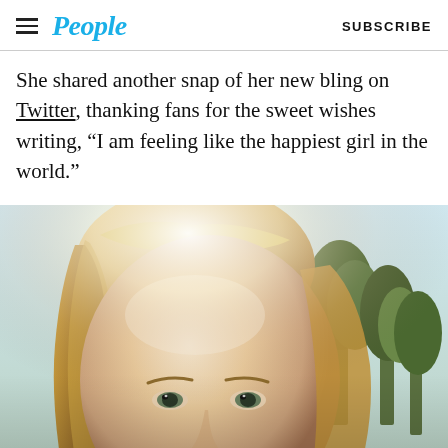People | SUBSCRIBE
She shared another snap of her new bling on Twitter, thanking fans for the sweet wishes writing, “I am feeling like the happiest girl in the world.”
[Figure (photo): Close-up selfie of a blonde woman outdoors with sunlight and trees in background]